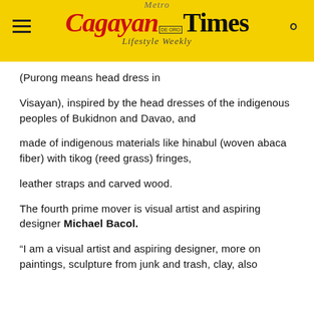Metro Cagayan de Oro Times Lifestyle Weekly
(Purong means head dress in
Visayan), inspired by the head dresses of the indigenous peoples of Bukidnon and Davao, and
made of indigenous materials like hinabul (woven abaca fiber) with tikog (reed grass) fringes,
leather straps and carved wood.
The fourth prime mover is visual artist and aspiring designer Michael Bacol.
“I am a visual artist and aspiring designer, more on paintings, sculpture from junk and trash, clay, also